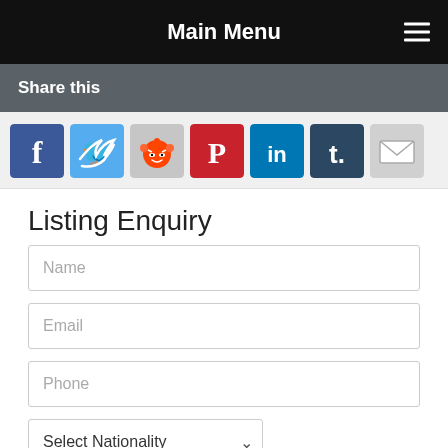Main Menu
Share this
[Figure (infographic): Social sharing icons: Facebook, Twitter, Reddit, Pinterest, LinkedIn, Tumblr, Email]
Listing Enquiry
Name (form input placeholder)
Email (form input placeholder)
Phone (form input placeholder)
Select Nationality (dropdown)
[Figure (infographic): WhatsApp Chat button with WhatsApp logo icon]